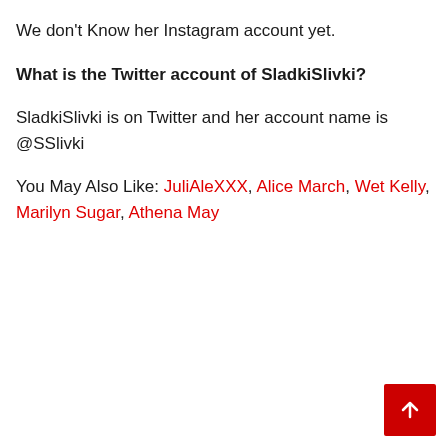We don't Know her Instagram account yet.
What is the Twitter account of SladkiSlivki?
SladkiSlivki is on Twitter and her account name is @SSlivki
You May Also Like: JuliAleXXX, Alice March, Wet Kelly, Marilyn Sugar, Athena May